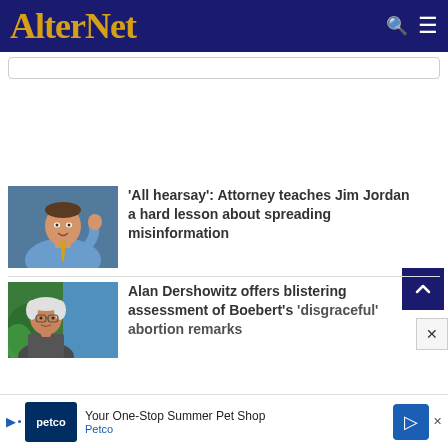AlterNet
[Figure (screenshot): Search bar input field]
[Figure (photo): Photo of Jim Jordan in blue shirt and yellow tie, gesturing]
'All hearsay': Attorney teaches Jim Jordan a hard lesson about spreading misinformation
[Figure (photo): Photo of Alan Dershowitz]
Alan Dershowitz offers blistering assessment of Boebert's 'disgraceful' abortion remarks
[Figure (screenshot): Petco advertisement: Your One-Stop Summer Pet Shop - Petco]